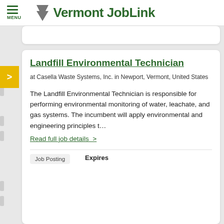Vermont JobLink
Landfill Environmental Technician
at Casella Waste Systems, Inc. in Newport, Vermont, United States
The Landfill Environmental Technician is responsible for performing environmental monitoring of water, leachate, and gas systems. The incumbent will apply environmental and engineering principles t…
Read full job details  >
Job Posting
Expires